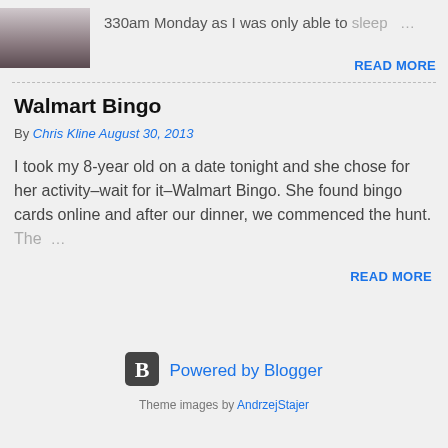[Figure (photo): Small thumbnail image of a person or child with striped clothing]
330am Monday as I was only able to sleep …
READ MORE
Walmart Bingo
By Chris Kline August 30, 2013
I took my 8-year old on a date tonight and she chose for her activity–wait for it–Walmart Bingo. She found bingo cards online and after our dinner, we commenced the hunt. The …
READ MORE
[Figure (logo): Blogger logo icon — white B on dark rounded square]
Powered by Blogger
Theme images by AndrzejStajer